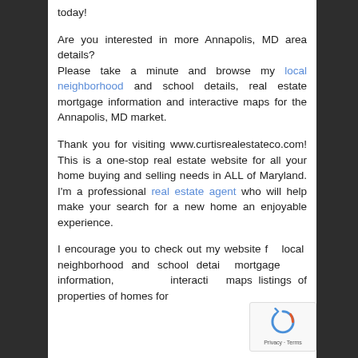today!
Are you interested in more Annapolis, MD area details?
Please take a minute and browse my local neighborhood and school details, real estate mortgage information and interactive maps for the Annapolis, MD market.
Thank you for visiting www.curtisrealestateco.com! This is a one-stop real estate website for all your home buying and selling needs in ALL of Maryland. I'm a professional real estate agent who will help make your search for a new home an enjoyable experience.
I encourage you to check out my website for local neighborhood and school details, mortgage information, interactive maps listings of properties of homes for